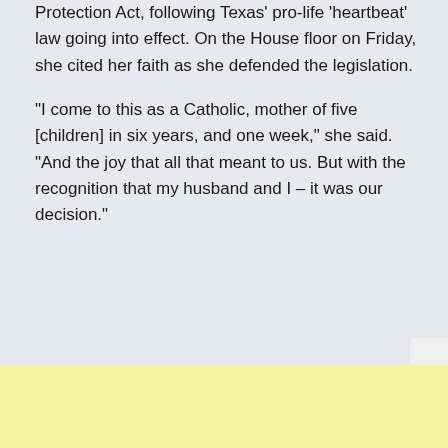Protection Act, following Texas' pro-life 'heartbeat' law going into effect. On the House floor on Friday, she cited her faith as she defended the legislation.
“I come to this as a Catholic, mother of five [children] in six years, and one week,” she said. “And the joy that all that meant to us. But with the recognition that my husband and I – it was our decision.”